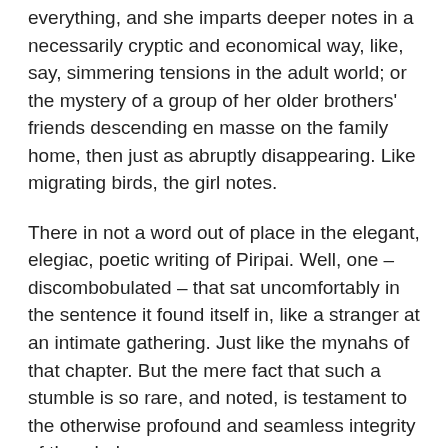everything, and she imparts deeper notes in a necessarily cryptic and economical way, like, say, simmering tensions in the adult world; or the mystery of a group of her older brothers' friends descending en masse on the family home, then just as abruptly disappearing. Like migrating birds, the girl notes.
There in not a word out of place in the elegant, elegiac, poetic writing of Piripai. Well, one – discombobulated – that sat uncomfortably in the sentence it found itself in, like a stranger at an intimate gathering. Just like the mynahs of that chapter. But the mere fact that such a stumble is so rare, and noted, is testament to the otherwise profound and seamless integrity of the whole.
In reading Piripai, the music and the majesty of the words kept forming acapella song in